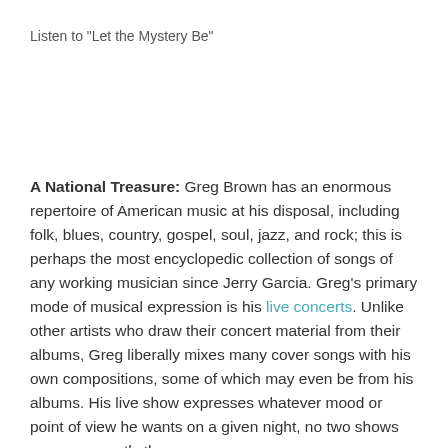Listen to "Let the Mystery Be"
A National Treasure: Greg Brown has an enormous repertoire of American music at his disposal, including folk, blues, country, gospel, soul, jazz, and rock; this is perhaps the most encyclopedic collection of songs of any working musician since Jerry Garcia. Greg's primary mode of musical expression is his live concerts. Unlike other artists who draw their concert material from their albums, Greg liberally mixes many cover songs with his own compositions, some of which may even be from his albums. His live show expresses whatever mood or point of view he wants on a given night, no two shows are ever exactly the same.